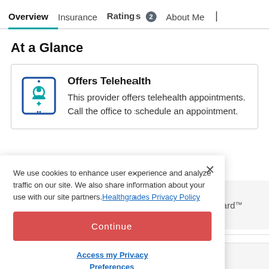Overview | Insurance | Ratings 2 | About Me |
At a Glance
[Figure (illustration): Telehealth icon: a tablet/screen outline with a person silhouette and a medical cross symbol, in blue and teal colors]
Offers Telehealth
This provider offers telehealth appointments. Call the office to schedule an appointment.
We use cookies to enhance user experience and analyze traffic on our site. We also share information about your use with our site partners. Healthgrades Privacy Policy
Continue
Access my Privacy Preferences
Award™